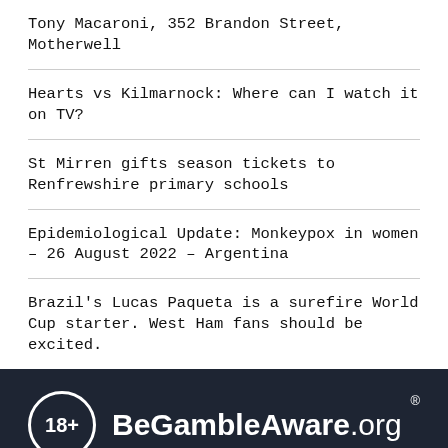Tony Macaroni, 352 Brandon Street, Motherwell
Hearts vs Kilmarnock: Where can I watch it on TV?
St Mirren gifts season tickets to Renfrewshire primary schools
Epidemiological Update: Monkeypox in women – 26 August 2022 – Argentina
Brazil's Lucas Paqueta is a surefire World Cup starter. West Ham fans should be excited.
[Figure (logo): BeGambleAware.org logo with 18+ circle icon and registered trademark symbol on dark background]
Practice responsible gambling. If you or someone you know has a problem with gambling, there are resources available to help.